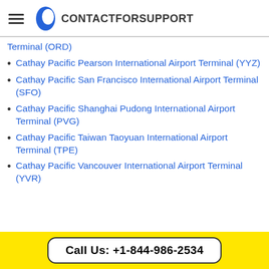CONTACTFORSUPPORT
Terminal (ORD)
Cathay Pacific Pearson International Airport Terminal (YYZ)
Cathay Pacific San Francisco International Airport Terminal (SFO)
Cathay Pacific Shanghai Pudong International Airport Terminal (PVG)
Cathay Pacific Taiwan Taoyuan International Airport Terminal (TPE)
Cathay Pacific Vancouver International Airport Terminal (YVR)
Call Us: +1-844-986-2534